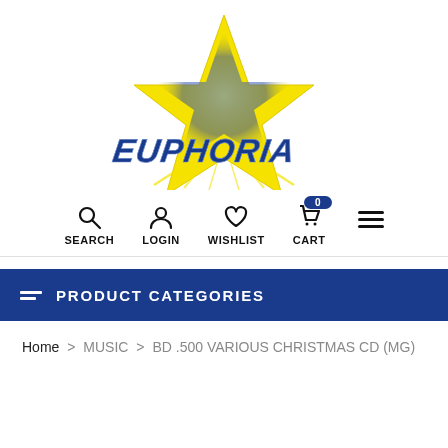[Figure (logo): Euphoria star logo with yellow star shape and blue stylized text 'EUPHORIA']
[Figure (infographic): Navigation bar with icons for SEARCH, LOGIN, WISHLIST, CART (with badge showing 0), and hamburger menu]
PRODUCT CATEGORIES
Home > MUSIC > BD .500 VARIOUS CHRISTMAS CD (MG)